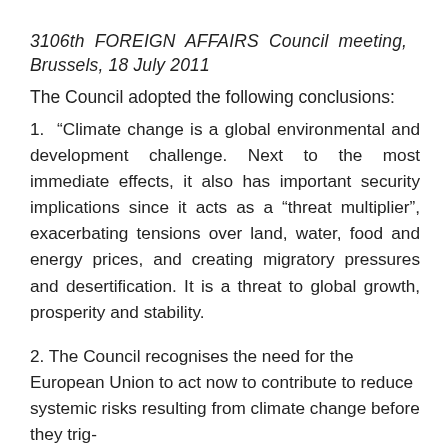3106th FOREIGN AFFAIRS Council meeting, Brussels, 18 July 2011
The Council adopted the following conclusions:
1. “Climate change is a global environmental and development challenge. Next to the most immediate effects, it also has important security implications since it acts as a “threat multiplier”, exacerbating tensions over land, water, food and energy prices, and creating migratory pressures and desertification. It is a threat to global growth, prosperity and stability.
2. The Council recognises the need for the European Union to act now to contribute to reduce systemic risks resulting from climate change before they trig-